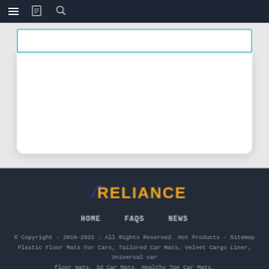Navigation bar with hamburger menu, bookmark icon, and search icon
[Figure (screenshot): Search input box with cyan/teal border on light grey background, with white card area below]
[Figure (logo): Reliance logo in orange/yellow text with blue swoosh accent mark, on dark navy footer background]
HOME   FAQS   NEWS
© Copyright - 2010-2022 : All Rights Reserved. Hot Products - Sitemap Plastic Floor Mats For Cars, Tailored Car Mats, Velvet Cargo Liner, Universal car floor mats, 3d Car Mats, Healthy Tpe Car Mats,